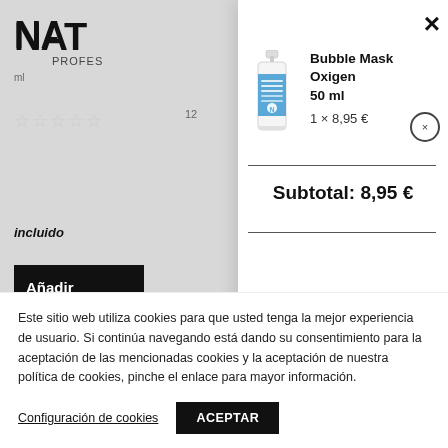[Figure (screenshot): Background showing partial NAT PROFES logo, star rating, 'incluido' text, and 'Añadir' button on a gray background]
×
[Figure (photo): Product bottle: Bubble Mask Oxigen 50ml — small white pump bottle with blue label]
Bubble Mask Oxigen 50 ml
1 × 8,95 €
Subtotal: 8,95 €
Este sitio web utiliza cookies para que usted tenga la mejor experiencia de usuario. Si continúa navegando está dando su consentimiento para la aceptación de las mencionadas cookies y la aceptación de nuestra política de cookies, pinche el enlace para mayor información.
Configuración de cookies
ACEPTAR